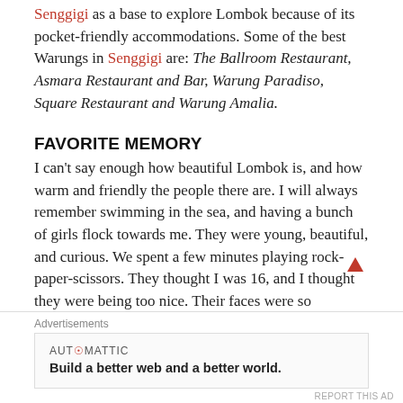Senggigi as a base to explore Lombok because of its pocket-friendly accommodations. Some of the best Warungs in Senggigi are: The Ballroom Restaurant, Asmara Restaurant and Bar, Warung Paradiso, Square Restaurant and Warung Amalia.
FAVORITE MEMORY
I can't say enough how beautiful Lombok is, and how warm and friendly the people there are. I will always remember swimming in the sea, and having a bunch of girls flock towards me. They were young, beautiful, and curious. We spent a few minutes playing rock-paper-scissors. They thought I was 16, and I thought they were being too nice. Their faces were so
Advertisements
AUTOMATTIC
Build a better web and a better world.